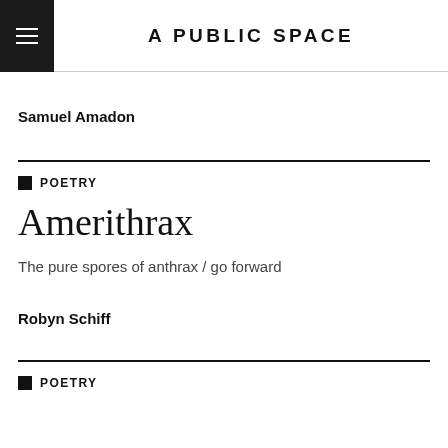A PUBLIC SPACE
Samuel Amadon
POETRY
Amerithrax
The pure spores of anthrax / go forward
Robyn Schiff
POETRY